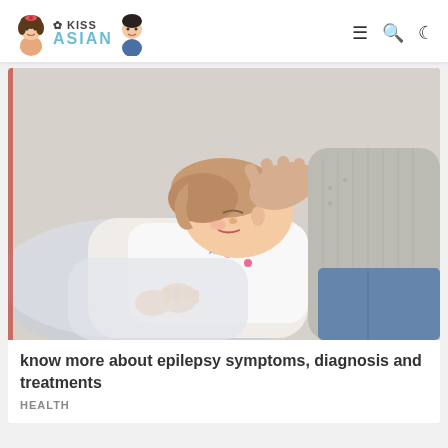KISS ASIAN
[Figure (photo): A child lying on pillows appearing to have a seizure, with an adult hand gently placed on the child's head offering care and support. The child is wearing a white top with floral print, and the adult is wearing a grey knit sweater.]
know more about epilepsy symptoms, diagnosis and treatments
HEALTH